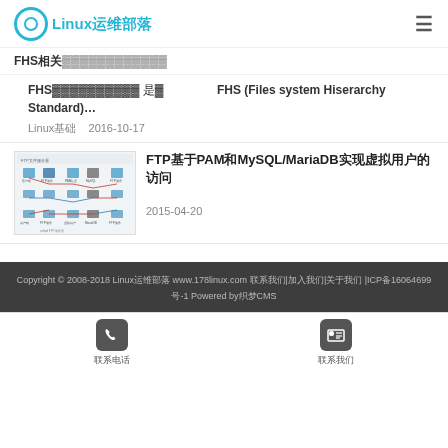Linux运维部落
FHS相关文章列表（部分截断）
FHS（文件系统层级标准）相关 — FHS (Files system Hiserarchy Standard)…
Linux基础    2016-10-17
[Figure (network-graph): FTP network diagram showing servers and connections with red and blue lines]
FTP基于PAM和MySQL/MariaDB实现虚拟用户的访问
2015-04-20
Copyright © 2008-2018 Linux运维部落 www.178linux.com 联系我们|加入我们|关于我们 |ICP备16064699号-1 Powered by织梦CMS
联系电话    联系我们